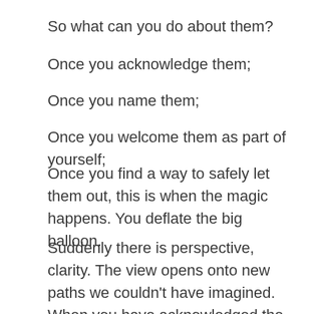So what can you do about them?
Once you acknowledge them;
Once you name them;
Once you welcome them as part of yourself;
Once you find a way to safely let them out, this is when the magic happens. You deflate the big balloon.
Suddenly there is perspective, clarity. The view opens onto new paths we couldn't have imagined. When you have acknowledged the emotional part of you; the role it is playing, then you can access the full rational thinking capability